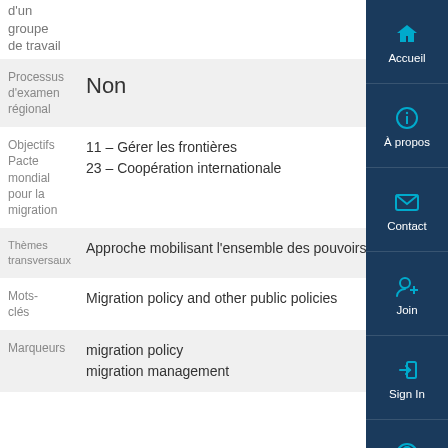d'un groupe de travail
| Label | Value |
| --- | --- |
| Processus d'examen régional | Non |
| Objectifs Pacte mondial pour la migration | 11 – Gérer les frontières
23 – Coopération internationale |
| Thèmes transversaux | Approche mobilisant l'ensemble des pouvoirs publics |
| Mots-clés | Migration policy and other public policies |
| Marqueurs | migration policy
migration management |